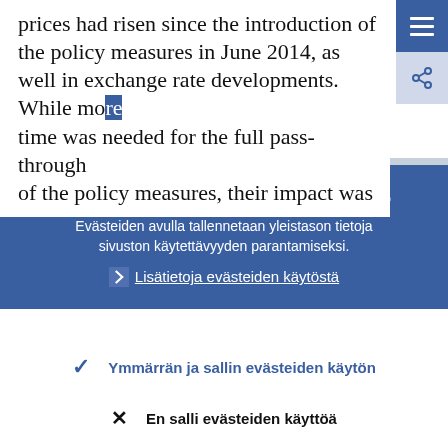prices had risen since the introduction of the policy measures in June 2014, as well in exchange rate developments. While more time was needed for the full pass-through of the policy measures, their impact was
Tällä sivustolla käytetään evästeitä.
Evästeiden avulla tallennetaan yleistason tietoja sivuston käytettävyyden parantamiseksi.
Lisätietoja evästeiden käytöstä
Ymmärrän ja sallin evästeiden käytön
En salli evästeiden käyttöä